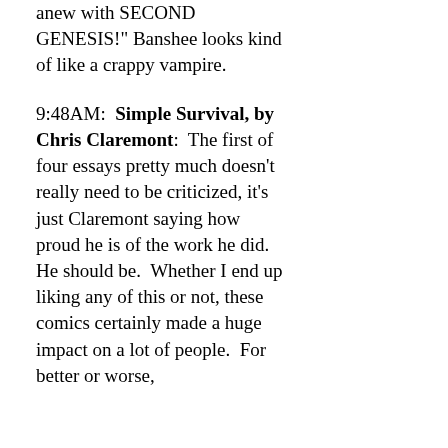anew with SECOND GENESIS!" Banshee looks kind of like a crappy vampire.
9:48AM:  Simple Survival, by Chris Claremont:  The first of four essays pretty much doesn't really need to be criticized, it's just Claremont saying how proud he is of the work he did.  He should be.  Whether I end up liking any of this or not, these comics certainly made a huge impact on a lot of people.  For better or worse,